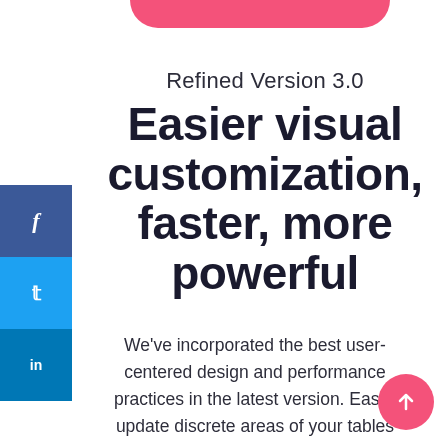[Figure (other): Pink rounded bar at the top of the page, partially visible]
[Figure (other): Social media sidebar with Facebook (blue), Twitter (light blue), and LinkedIn (dark blue) icon buttons]
Refined Version 3.0
Easier visual customization, faster, more powerful
We've incorporated the best user-centered design and performance practices in the latest version. Easily update discrete areas of your tables
[Figure (other): Pink circular scroll-to-top button with upward arrow icon in bottom right corner]